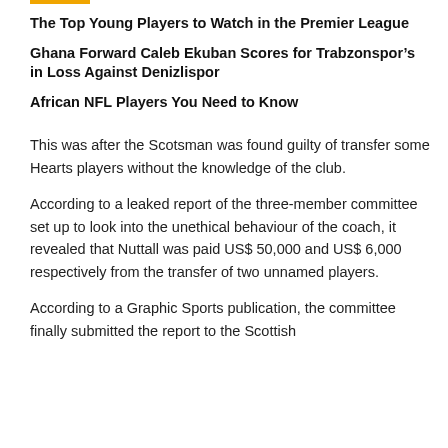The Top Young Players to Watch in the Premier League
Ghana Forward Caleb Ekuban Scores for Trabzonspor’s in Loss Against Denizlispor
African NFL Players You Need to Know
This was after the Scotsman was found guilty of transfer some Hearts players without the knowledge of the club.
According to a leaked report of the three-member committee set up to look into the unethical behaviour of the coach, it revealed that Nuttall was paid US$ 50,000 and US$ 6,000 respectively from the transfer of two unnamed players.
According to a Graphic Sports publication, the committee finally submitted the report to the Scottish